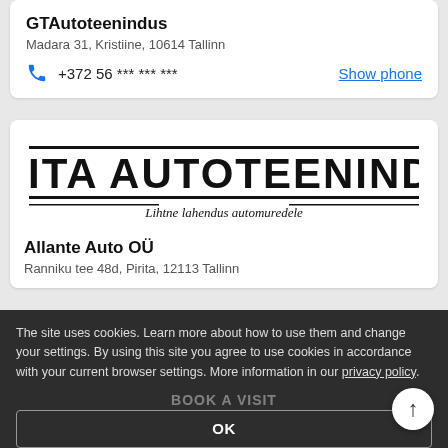GTAutoteenindus
Madara 31, Kristiine, 10614 Tallinn
+372 56 *** *** ***  Show phone
[Figure (logo): PIRITA AUTOTEENINDUS logo with tagline 'Lihtne lahendus automuredele']
Allante Auto OÜ
Ranniku tee 48d, Pirita, 12113 Tallinn
The site uses cookies. Learn more about how to use them and change your settings. By using this site you agree to use cookies in accordance with your current browser settings. More information in our privacy policy.
BOOK A VISIT
OK